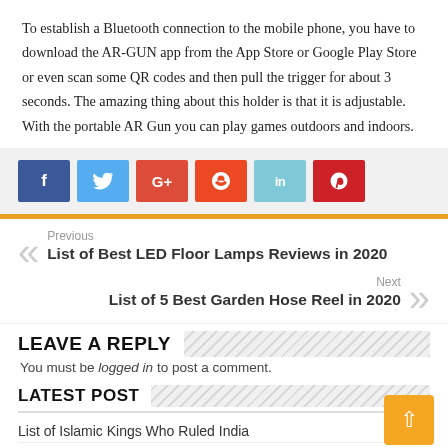To establish a Bluetooth connection to the mobile phone, you have to download the AR-GUN app from the App Store or Google Play Store or even scan some QR codes and then pull the trigger for about 3 seconds. The amazing thing about this holder is that it is adjustable. With the portable AR Gun you can play games outdoors and indoors.
[Figure (infographic): Social media share buttons: Facebook (blue), Twitter (light blue), Google+ (red), StumbleUpon (orange-red), LinkedIn (light blue), Pinterest (red)]
Previous
List of Best LED Floor Lamps Reviews in 2020
Next
List of 5 Best Garden Hose Reel in 2020
LEAVE A REPLY
You must be logged in to post a comment.
LATEST POST
List of Islamic Kings Who Ruled India